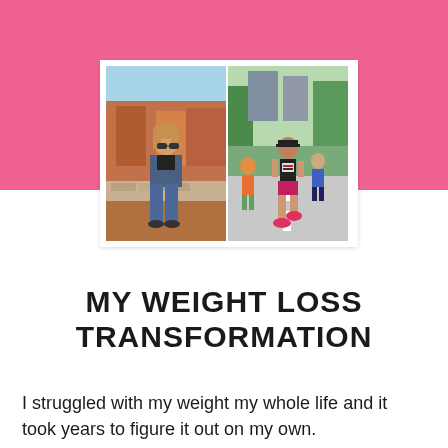[Figure (photo): Two side-by-side photos: left shows a woman sitting on a stone wall at a canyon overlook wearing a denim jacket and jeans; right shows a woman running a road race in athletic wear.]
MY WEIGHT LOSS TRANSFORMATION
I struggled with my weight my whole life and it took years to figure it out on my own.